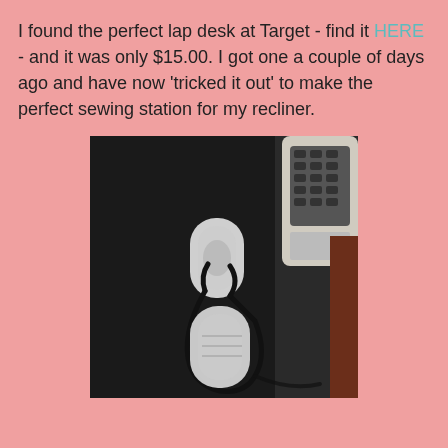I found the perfect lap desk at Target - find it HERE - and it was only $15.00. I got one a couple of days ago and have now 'tricked it out' to make the perfect sewing station for my recliner.
[Figure (photo): Photo of a dark/black lap desk surface showing two clear adhesive clips with a black elastic hair tie or bungee looped through them, and a remote control partially visible in the upper right corner.]